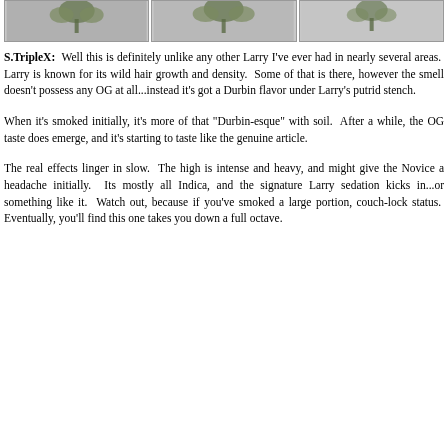[Figure (photo): Three photos of cannabis plant/buds in a row, shown from above on a gray background]
S.TripleX:  Well this is definitely unlike any other Larry I've ever had in nearly several areas.  Larry is known for its wild hair growth and density.  Some of that is there, however the smell doesn't possess any OG at all...instead it's got a Durbin flavor under Larry's putrid stench.
When it's smoked initially, it's more of that "Durbin-esque" with soil.  After a while, the OG taste does emerge, and it's starting to taste like the genuine article.
The real effects linger in slow.  The high is intense and heavy, and might give the Novice a headache initially.  Its mostly all Indica, and the signature Larry sedation kicks in...or something like it.  Watch out, because if you've smoked a large portion, couch-lock status.  Eventually, you'll find this one takes you down a full octave.